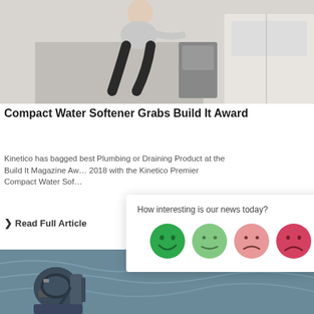[Figure (photo): Person crouching in front of kitchen appliance/water softener unit]
Compact Water Softener Grabs Build It Award
Kinetico has bagged best Plumbing or Draining Product at the Build It Magazine Awards 2018 with the Kinetico Premier Compact Water Softener.
❯ Read Full Article
[Figure (infographic): Rating widget popup asking 'How interesting is our news today?' with four emoji faces ranging from happy (dark green) to neutral (light green) to slightly sad (pink) to sad (dark pink/red)]
[Figure (photo): Person wearing diving/underwater gear and mask near water]